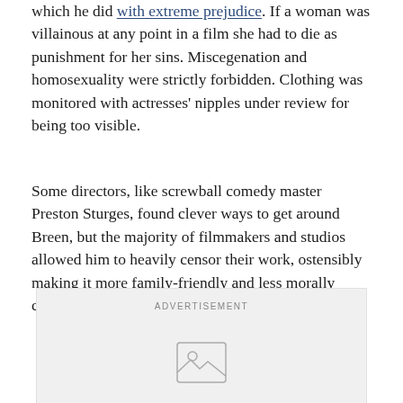which he did with extreme prejudice. If a woman was villainous at any point in a film she had to die as punishment for her sins. Miscegenation and homosexuality were strictly forbidden. Clothing was monitored with actresses' nipples under review for being too visible.
Some directors, like screwball comedy master Preston Sturges, found clever ways to get around Breen, but the majority of filmmakers and studios allowed him to heavily censor their work, ostensibly making it more family-friendly and less morally complex.
[Figure (other): Advertisement placeholder with image icon]